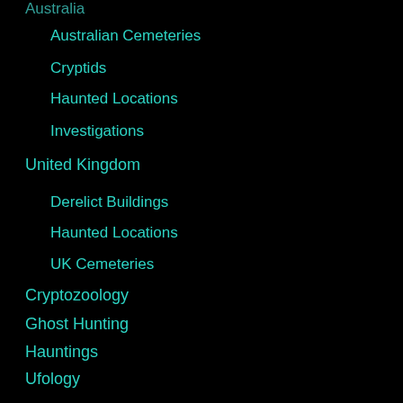Australia
Australian Cemeteries
Cryptids
Haunted Locations
Investigations
United Kingdom
Derelict Buildings
Haunted Locations
UK Cemeteries
Cryptozoology
Ghost Hunting
Hauntings
Ufology
OTHER
Book Reviews
[Figure (logo): reCAPTCHA privacy badge with spinning arrows icon and Privacy · Terms text]